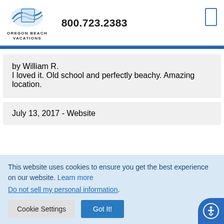[Figure (logo): Oregon Beach Vacations logo with wave/beach graphic and text OREGON BEACH VACATIONS]
800.723.2383
by William R.
I loved it. Old school and perfectly beachy. Amazing location.
July 13, 2017 - Website
This website uses cookies to ensure you get the best experience on our website. Learn more
Do not sell my personal information.